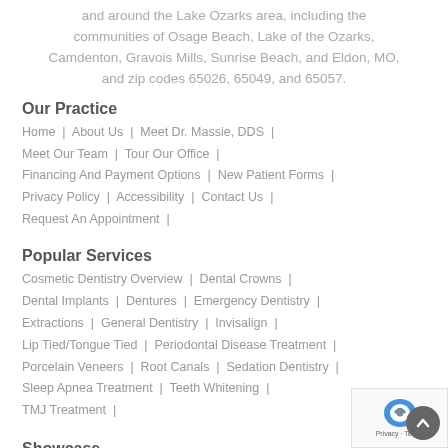and around the Lake Ozarks area, including the communities of Osage Beach, Lake of the Ozarks, Camdenton, Gravois Mills, Sunrise Beach, and Eldon, MO, and zip codes 65026, 65049, and 65057.
Our Practice
Home  |  About Us  |  Meet Dr. Massie, DDS  |  Meet Our Team  |  Tour Our Office  |  Financing And Payment Options  |  New Patient Forms  |  Privacy Policy  |  Accessibility  |  Contact Us  |  Request An Appointment  |
Popular Services
Cosmetic Dentistry Overview  |  Dental Crowns  |  Dental Implants  |  Dentures  |  Emergency Dentistry  |  Extractions  |  General Dentistry  |  Invisalign  |  Lip Tied/Tongue Tied  |  Periodontal Disease Treatment  |  Porcelain Veneers  |  Root Canals  |  Sedation Dentistry  |  Sleep Apnea Treatment  |  Teeth Whitening  |  TMJ Treatment  |
Showcase